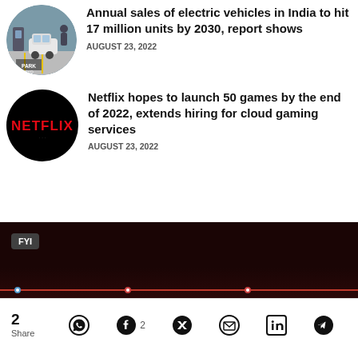[Figure (photo): Circular thumbnail of electric vehicle at charging station]
Annual sales of electric vehicles in India to hit 17 million units by 2030, report shows
AUGUST 23, 2022
[Figure (logo): Netflix logo — red NETFLIX text on black circular background]
Netflix hopes to launch 50 games by the end of 2022, extends hiring for cloud gaming services
AUGUST 23, 2022
[Figure (screenshot): Dark banner with FYI badge label and red waveform/timeline at bottom]
2 Share | WhatsApp | Facebook 2 | Twitter | Email | LinkedIn | Telegram